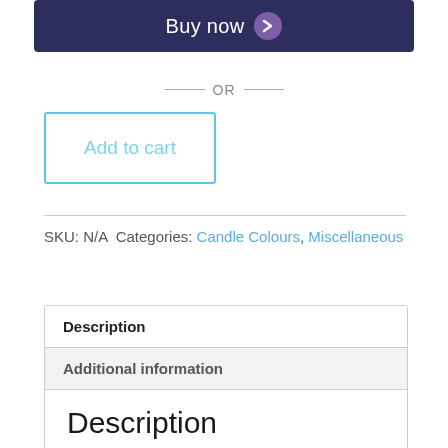Buy now
— OR —
Add to cart
SKU: N/A Categories: Candle Colours, Miscellaneous
Description
Additional information
Description
Safety and Storage
For Candle and Melt use only